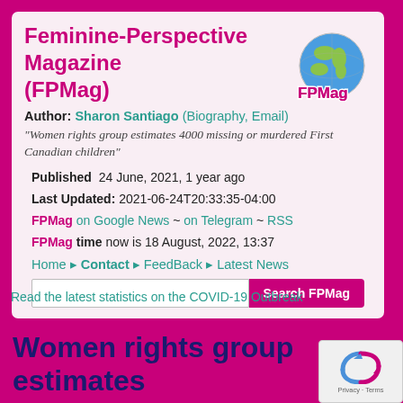Feminine-Perspective Magazine (FPMag)
Author: Sharon Santiago (Biography, Email)
"Women rights group estimates 4000 missing or murdered First Canadian children"
Published  24 June, 2021, 1 year ago
Last Updated: 2021-06-24T20:33:35-04:00
FPMag on Google News ~ on Telegram ~ RSS
FPMag time now is 18 August, 2022, 13:37
Home ▸ Contact ▸ FeedBack ▸ Latest News
Read the latest statistics on the COVID-19 Outbreak
Women rights group estimates 4000 missing or murdered First